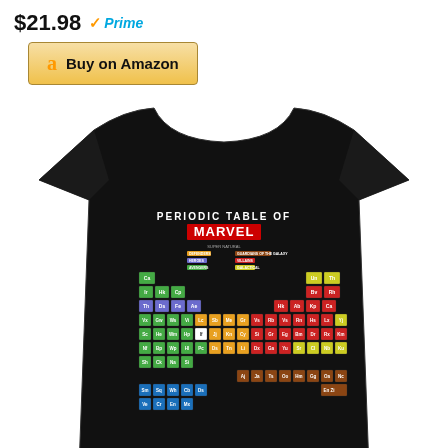$21.98 Prime
Buy on Amazon
[Figure (photo): Black t-shirt featuring a 'Periodic Table of Marvel' design with colorful element-style boxes representing Marvel characters, shown on a white background. Price shown as $21.98 with Prime badge and Buy on Amazon button.]